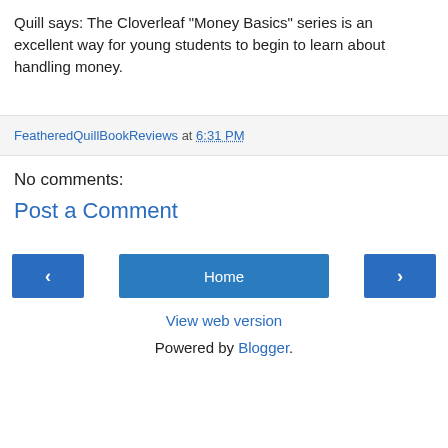Quill says: The Cloverleaf "Money Basics" series is an excellent way for young students to begin to learn about handling money.
FeatheredQuillBookReviews at 6:31 PM
No comments:
Post a Comment
Home
View web version
Powered by Blogger.